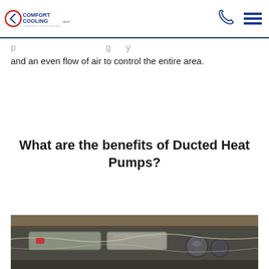Comfort Cooling
and an even flow of air to control the entire area.
What are the benefits of Ducted Heat Pumps?
[Figure (photo): Photo of ducted heat pump ductwork installed in a ceiling/roof space showing metal ducts and pipes]